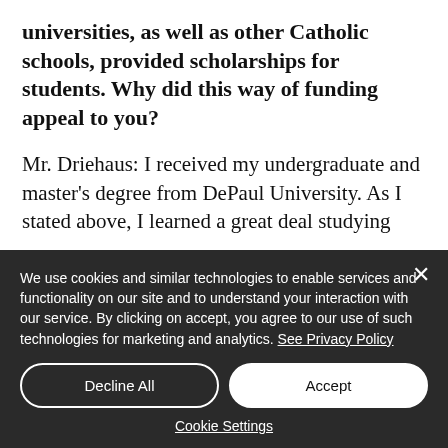universities, as well as other Catholic schools, provided scholarships for students. Why did this way of funding appeal to you?
Mr. Driehaus: I received my undergraduate and master's degree from DePaul University. As I stated above, I learned a great deal studying
We use cookies and similar technologies to enable services and functionality on our site and to understand your interaction with our service. By clicking on accept, you agree to our use of such technologies for marketing and analytics. See Privacy Policy